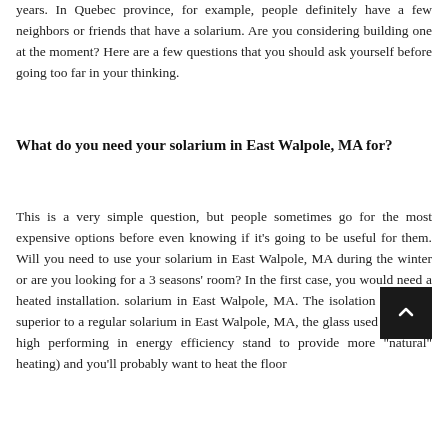years. In Quebec province, for example, people definitely have a few neighbors or friends that have a solarium. Are you considering building one at the moment? Here are a few questions that you should ask yourself before going too far in your thinking.
What do you need your solarium in East Walpole, MA for?
This is a very simple question, but people sometimes go for the most expensive options before even knowing if it's going to be useful for them. Will you need to use your solarium in East Walpole, MA during the winter or are you looking for a 3 seasons' room? In the first case, you would need a heated installation. solarium in East Walpole, MA. The isolation would be superior to a regular solarium in East Walpole, MA, the glass used would be high performing in energy efficiency stand to provide more "natural" heating) and you'll probably want to heat the floor